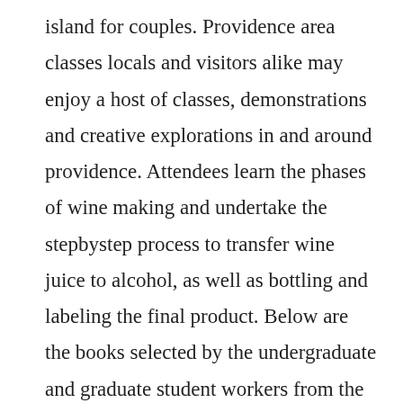island for couples. Providence area classes locals and visitors alike may enjoy a host of classes, demonstrations and creative explorations in and around providence. Attendees learn the phases of wine making and undertake the stepbystep process to transfer wine juice to alcohol, as well as bottling and labeling the final product. Below are the books selected by the undergraduate and graduate student workers from the class of 2020. The 2004 edition of the rhode island department of transportations standard